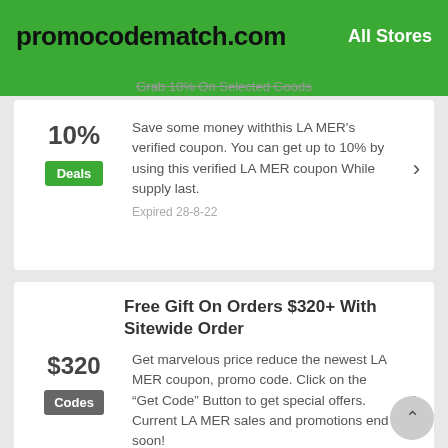promocodematch.com | All Stores
Grab 10% On Selected Goods
10%
Deals
Save some money withthis LA MER's verified coupon. You can get up to 10% by using this verified LA MER coupon While supply last.
Expired 28-8-22
Free Gift On Orders $320+ With Sitewide Order
$320
Codes
Get marvelous price reduce the newest LA MER coupon, promo code. Click on the “Get Code” Button to get special offers. Current LA MER sales and promotions end soon!
Expired 21-8-22